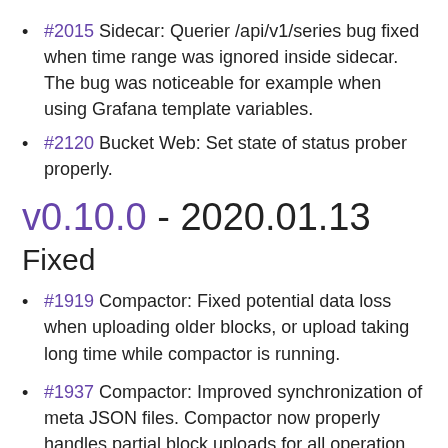#2015 Sidecar: Querier /api/v1/series bug fixed when time range was ignored inside sidecar. The bug was noticeable for example when using Grafana template variables.
#2120 Bucket Web: Set state of status prober properly.
v0.10.0 - 2020.01.13
Fixed
#1919 Compactor: Fixed potential data loss when uploading older blocks, or upload taking long time while compactor is running.
#1937 Compactor: Improved synchronization of meta JSON files. Compactor now properly handles partial block uploads for all operation like retention apply, downsampling and compaction. Additionally: